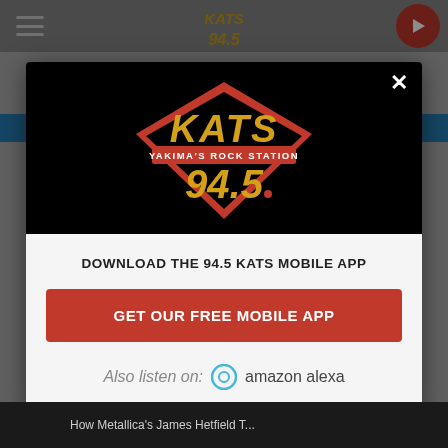[Figure (screenshot): Background website with KATS 94.5 radio station header, hamburger menu, play button, and dimmed overlay behind modal popup]
[Figure (logo): KATS 94.5 Yakima's Rock Station logo in yellow and red on black background inside modal]
×
DOWNLOAD THE 94.5 KATS MOBILE APP
GET OUR FREE MOBILE APP
Also listen on:  amazon alexa
How Metallica's James Hetfield T...